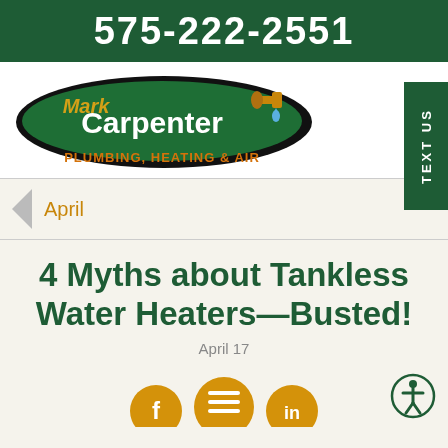575-222-2551
[Figure (logo): Mark Carpenter Plumbing, Heating & Air logo — green oval with white and gold lettering, faucet graphic with water drop]
TEXT US
April
4 Myths about Tankless Water Heaters—Busted!
April 17